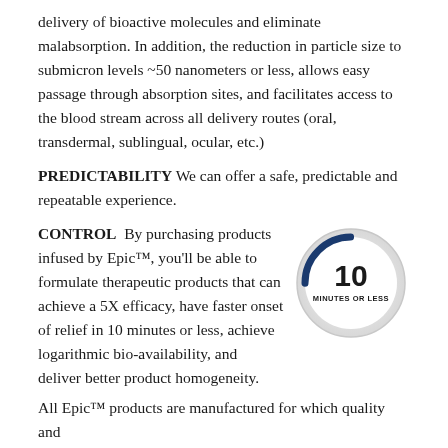delivery of bioactive molecules and eliminate malabsorption. In addition, the reduction in particle size to submicron levels ~50 nanometers or less, allows easy passage through absorption sites, and facilitates access to the blood stream across all delivery routes (oral, transdermal, sublingual, ocular, etc.)
PREDICTABILITY We can offer a safe, predictable and repeatable experience.
CONTROL  By purchasing products infused by Epic™, you'll be able to formulate therapeutic products that can achieve a 5X efficacy, have faster onset of relief in 10 minutes or less, achieve logarithmic bio-availability, and deliver better product homogeneity.
[Figure (infographic): Circular dial/gauge graphic showing '10 MINUTES OR LESS' with a dark blue arc at the top right of the circle]
All Epic™ products are manufactured for which quality and...